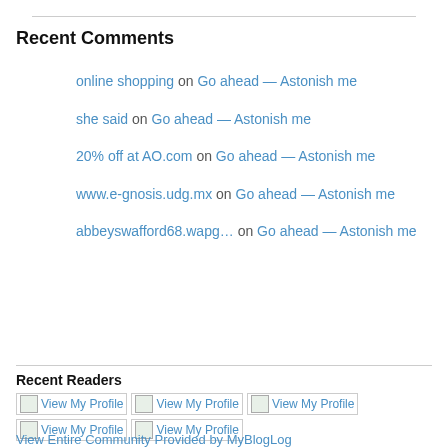Recent Comments
online shopping on Go ahead — Astonish me
she said on Go ahead — Astonish me
20% off at AO.com on Go ahead — Astonish me
www.e-gnosis.udg.mx on Go ahead — Astonish me
abbeyswafford68.wapg… on Go ahead — Astonish me
Recent Readers
[Figure (other): Five 'View My Profile' badge icons arranged in two rows]
View Entire Community Provided by MyBlogLog